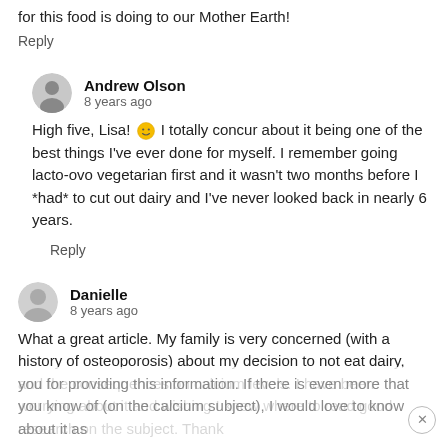for this food is doing to our Mother Earth!
Reply
Andrew Olson
8 years ago
High five, Lisa! 🙂 I totally concur about it being one of the best things I've ever done for myself. I remember going lacto-ovo vegetarian first and it wasn't two months before I *had* to cut out dairy and I've never looked back in nearly 6 years.
Reply
Danielle
8 years ago
What a great article. My family is very concerned (with a history of osteoporosis) about my decision to not eat dairy, and the consequences on calcium levels. I have been worrying about it and wishing I knew where to read good research on the subject. Thank you for providing this information. If there is even more that you know of (on the calcium subject), I would love to know about it as